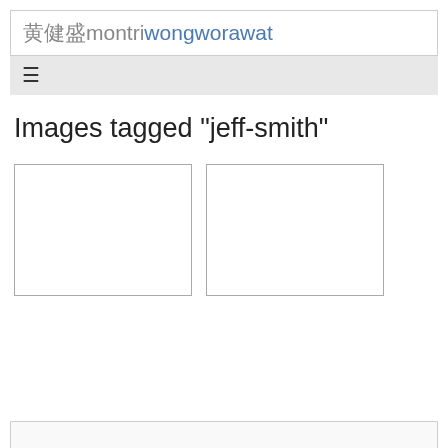黄健盛montriwongworawat
Images tagged "jeff-smith"
[Figure (photo): Empty image placeholder box 1]
[Figure (photo): Empty image placeholder box 2]